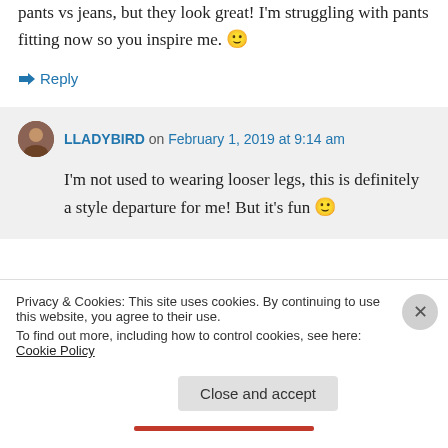pants vs jeans, but they look great! I'm struggling with pants fitting now so you inspire me. 🙂
↪ Reply
LLADYBIRD on February 1, 2019 at 9:14 am
I'm not used to wearing looser legs, this is definitely a style departure for me! But it's fun 🙂
Privacy & Cookies: This site uses cookies. By continuing to use this website, you agree to their use.
To find out more, including how to control cookies, see here: Cookie Policy
Close and accept